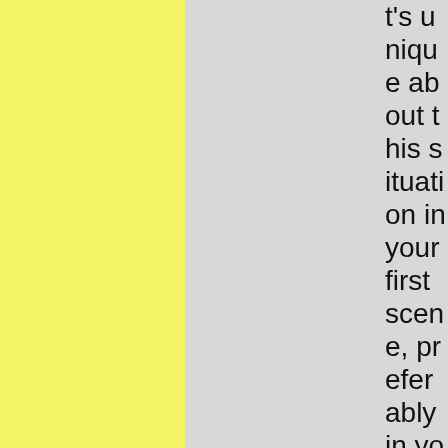t's unique about this situation in your first scene, preferably in your first few paragraphs. You